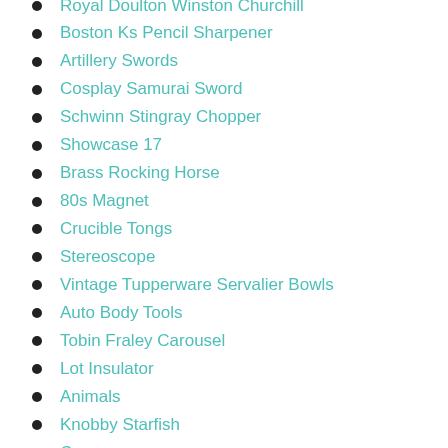Royal Doulton Winston Churchill
Boston Ks Pencil Sharpener
Artillery Swords
Cosplay Samurai Sword
Schwinn Stingray Chopper
Showcase 17
Brass Rocking Horse
80s Magnet
Crucible Tongs
Stereoscope
Vintage Tupperware Servalier Bowls
Auto Body Tools
Tobin Fraley Carousel
Lot Insulator
Animals
Knobby Starfish
Cory
Blue Whale
Michelin Man Keychain
Wonder Bread Sign
Pig Decorations
Gargoyle Sign
Columbine